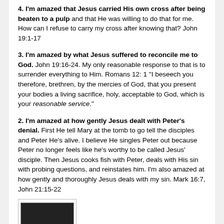4. I'm amazed that Jesus carried His own cross after being beaten to a pulp and that He was willing to do that for me. How can I refuse to carry my cross after knowing that? John 19:1-17
3. I'm amazed by what Jesus suffered to reconcile me to God. John 19:16-24. My only reasonable response to that is to surrender everything to Him. Romans 12: 1 “I beseech you therefore, brethren, by the mercies of God, that you present your bodies a living sacrifice, holy, acceptable to God, which is your reasonable service.”
2. I'm amazed at how gently Jesus dealt with Peter's denial. First He tell Mary at the tomb to go tell the disciples and Peter He’s alive. I believe He singles Peter out because Peter no longer feels like he’s worthy to be called Jesus’ disciple. Then Jesus cooks fish with Peter, deals with His sin with probing questions, and reinstates him. I’m also amazed at how gently and thoroughly Jesus deals with my sin. Mark 16:7, John 21:15-22
[Figure (photo): A thumbnail image, partially visible at the bottom of the page, appearing to show a dark photograph.]